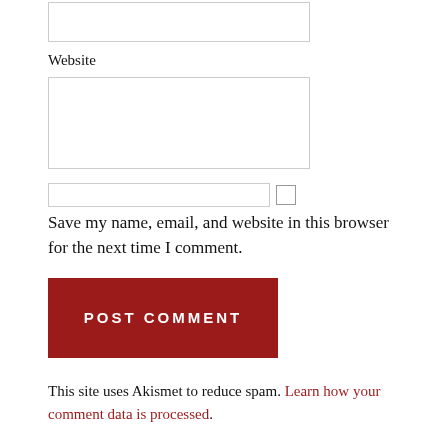[Figure (screenshot): A text input box (top of page, partially visible)]
Website
[Figure (screenshot): A multi-line text input box for Website field]
[Figure (screenshot): A checkbox input field row]
Save my name, email, and website in this browser for the next time I comment.
[Figure (screenshot): POST COMMENT button, dark red background with white uppercase text]
This site uses Akismet to reduce spam. Learn how your comment data is processed.